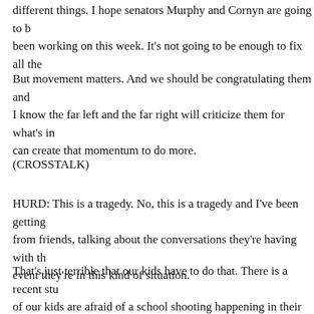different things. I hope senators Murphy and Cornyn are going to b been working on this week. It's not going to be enough to fix all the
But movement matters. And we should be congratulating them and I know the far left and the far right will criticize them for what's in can create that momentum to do more.
(CROSSTALK)
HURD: This is a tragedy. No, this is a tragedy and I've been getting from friends, talking about the conversations they're having with th event they're in this kind of situation.
That's just terrible that our kids have to do that. There is a recent stu of our kids are afraid of a school shooting happening in their schoo